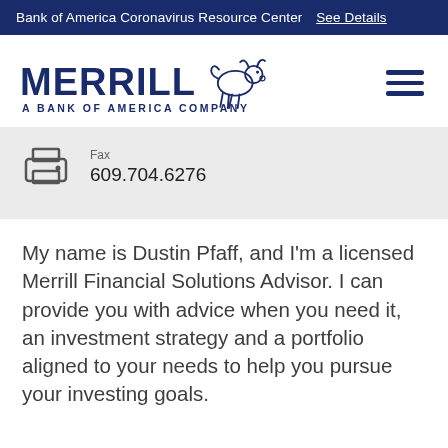Bank of America Coronavirus Resource Center See Details
[Figure (logo): Merrill Lynch bull logo with text MERRILL A BANK OF AMERICA COMPANY in dark navy blue]
Fax 609.704.6276
My name is Dustin Pfaff, and I’m a licensed Merrill Financial Solutions Advisor. I can provide you with advice when you need it, an investment strategy and a portfolio aligned to your needs to help you pursue your investing goals.